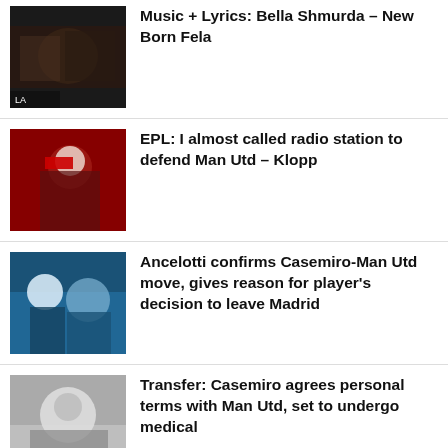Music + Lyrics: Bella Shmurda – New Born Fela
EPL: I almost called radio station to defend Man Utd – Klopp
Ancelotti confirms Casemiro-Man Utd move, gives reason for player's decision to leave Madrid
Transfer: Casemiro agrees personal terms with Man Utd, set to undergo medical